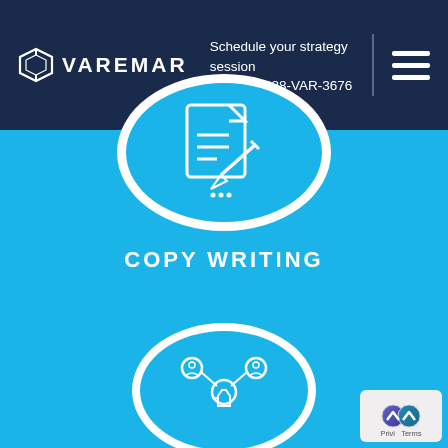VAREMAR — Schedule your strategy session — Call : +1-888-VAR-3676
[Figure (illustration): Blue circular icon with white document and pencil/writing icon representing copy writing service]
COPY WRITING
[Figure (illustration): Blue circular icon partially visible at bottom with social network / people connection icon]